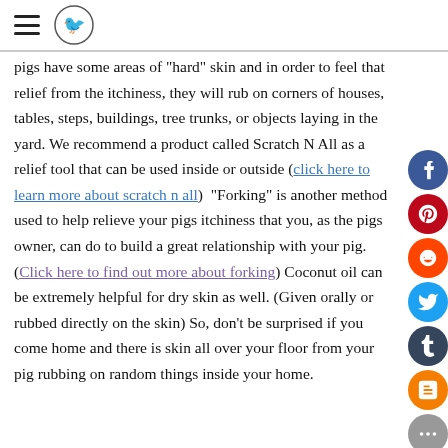[hamburger menu icon] [logo: pig/bird circular icon]
pigs have some areas of "hard" skin and in order to feel that relief from the itchiness, they will rub on corners of houses, tables, steps, buildings, tree trunks, or objects laying in the yard. We recommend a product called Scratch N All as a relief tool that can be used inside or outside (click here to learn more about scratch n all)  "Forking" is another method used to help relieve your pigs itchiness that you, as the pigs owner, can do to build a great relationship with your pig. (Click here to find out more about forking) Coconut oil can be extremely helpful for dry skin as well. (Given orally or rubbed directly on the skin) So, don't be surprised if you come home and there is skin all over your floor from your pig rubbing on random things inside your home.
[Figure (other): Social sharing sidebar with icons for Facebook (blue), Pinterest (red), Reddit (orange-red), Twitter (blue), Tumblr (dark blue), Blogger (orange), and a gray more/ellipsis button]